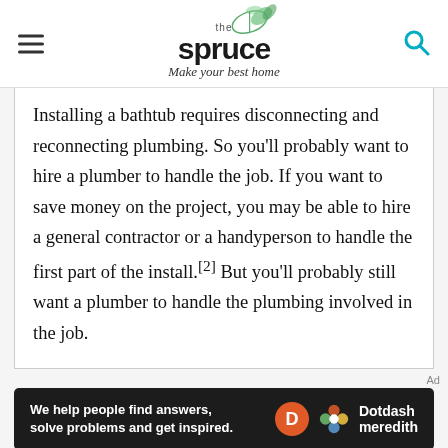the spruce — Make your best home
Installing a bathtub requires disconnecting and reconnecting plumbing. So you'll probably want to hire a plumber to handle the job. If you want to save money on the project, you may be able to hire a general contractor or a handyperson to handle the first part of the install.[2] But you'll probably still want a plumber to handle the plumbing involved in the job.
Ad
We help people find answers, solve problems and get inspired. Dotdash meredith